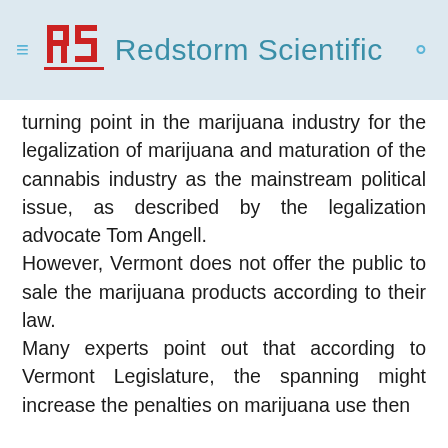≡ [RS logo] Redstorm Scientific 🔍
turning point in the marijuana industry for the legalization of marijuana and maturation of the cannabis industry as the mainstream political issue, as described by the legalization advocate Tom Angell.
However, Vermont does not offer the public to sale the marijuana products according to their law.
Many experts point out that according to Vermont Legislature, the spanning might increase the penalties on marijuana use then